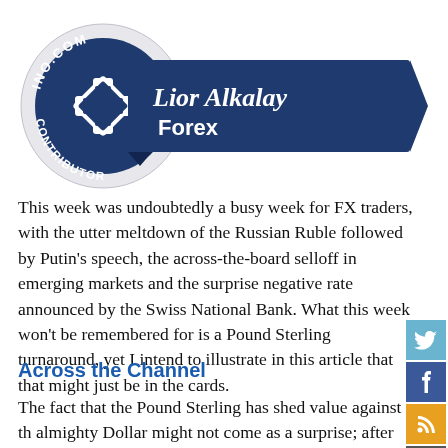[Figure (logo): INO.COM Contributor badge with Lior Alkalay Forex ribbon banner]
This week was undoubtedly a busy week for FX traders, with the utter meltdown of the Russian Ruble followed by Putin's speech, the across-the-board selloff in emerging markets and the surprise negative rate announced by the Swiss National Bank. What this week won't be remembered for is a Pound Sterling turnaround, yet I intend to illustrate in this article that that might just be in the cards.
Across the Channel
The fact that the Pound Sterling has shed value against the almighty Dollar might not come as a surprise; after all, the Dollar has rallied across the board as the Fed turned